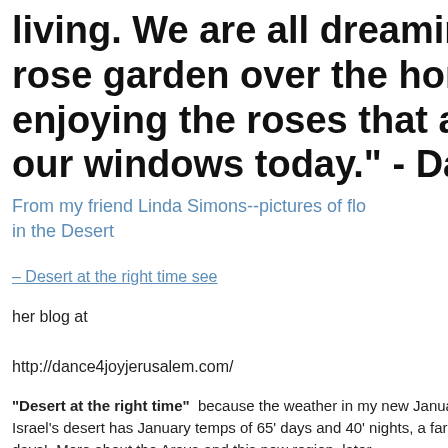living. We are all dreaming of some rose garden over the horizon instead of enjoying the roses that are blooming outside our windows today." - Dale Carnegie
From my friend Linda Simons--pictures of flowers in the Desert
– Desert at the right time see
her blog at
http://dance4joyjerusalem.com/
"Desert at the right time" because the weather in my new January Israel's desert has January temps of 65' days and 40' nights, a far c days! More about the Arava and this new region, later.